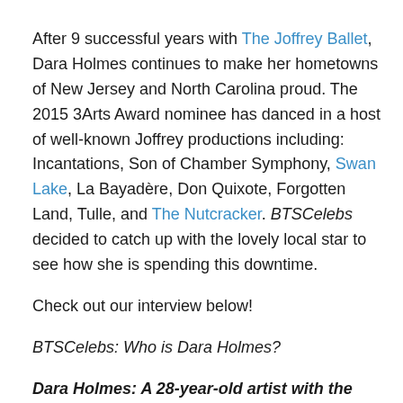After 9 successful years with The Joffrey Ballet, Dara Holmes continues to make her hometowns of New Jersey and North Carolina proud. The 2015 3Arts Award nominee has danced in a host of well-known Joffrey productions including: Incantations, Son of Chamber Symphony, Swan Lake, La Bayadère, Don Quixote, Forgotten Land, Tulle, and The Nutcracker. BTSCelebs decided to catch up with the lovely local star to see how she is spending this downtime.
Check out our interview below!
BTSCelebs: Who is Dara Holmes?
Dara Holmes: A 28-year-old artist with the Joffrey Ballet.